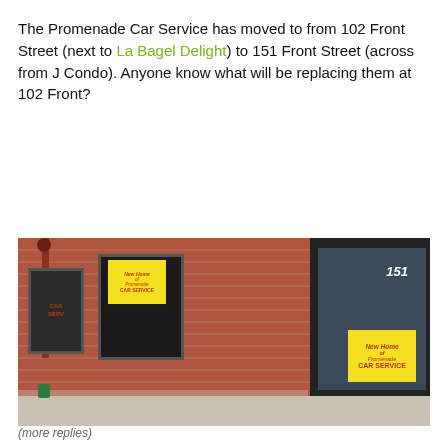The Promenade Car Service has moved to from 102 Front Street (next to La Bagel Delight) to 151 Front Street (across from J Condo). Anyone know what will be replacing them at 102 Front?
[Figure (photo): Exterior photo of a red brick building at 151 Front Street showing the new location of Promenade Car Service. Two yellow signs reading 'New Home of Promenade CAR SERVICE' are visible — one in the middle window and one on the glass door. The number 151 is displayed above the door.]
(more replies)